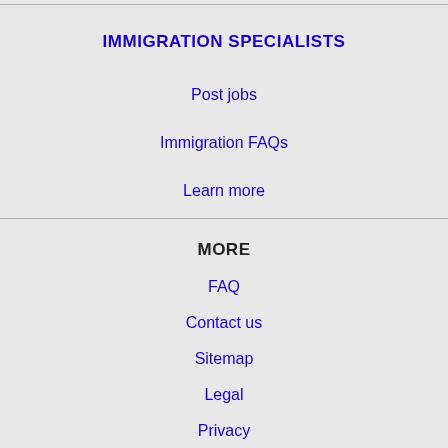IMMIGRATION SPECIALISTS
Post jobs
Immigration FAQs
Learn more
MORE
FAQ
Contact us
Sitemap
Legal
Privacy
NEARBY CITIES
Alexandria, VA Jobs